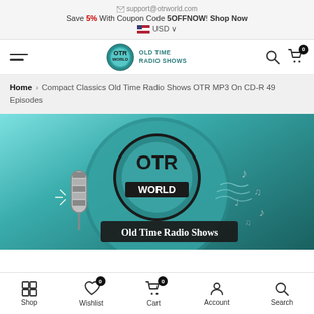support@otrworld.com
Save 5% With Coupon Code 5OFFNOW! Shop Now
🇺🇸 USD
[Figure (logo): OTR World Old Time Radio Shows navigation bar with hamburger menu, logo, search and cart icons]
Home > Compact Classics Old Time Radio Shows OTR MP3 On CD-R 49 Episodes
[Figure (photo): OTR World product image - circular disc with OTR World logo, globe, vintage microphone, musical notes and 'Old Time Radio Shows' text banner]
Shop  Wishlist  Cart  Account  Search